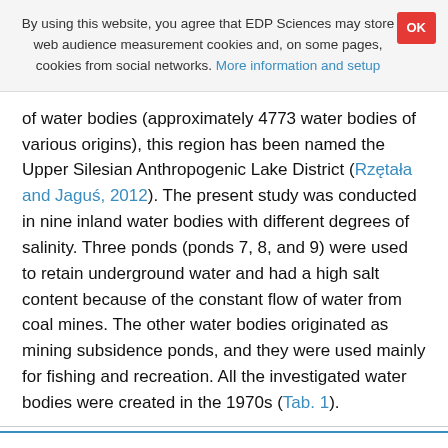By using this website, you agree that EDP Sciences may store web audience measurement cookies and, on some pages, cookies from social networks. More information and setup
of water bodies (approximately 4773 water bodies of various origins), this region has been named the Upper Silesian Anthropogenic Lake District (Rzętała and Jaguś, 2012). The present study was conducted in nine inland water bodies with different degrees of salinity. Three ponds (ponds 7, 8, and 9) were used to retain underground water and had a high salt content because of the constant flow of water from coal mines. The other water bodies originated as mining subsidence ponds, and they were used mainly for fishing and recreation. All the investigated water bodies were created in the 1970s (Tab. 1).
Table 1   Characteristics of the studied ponds.